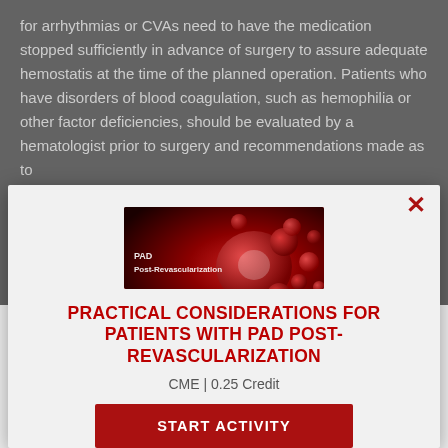for arrhythmias or CVAs need to have the medication stopped sufficiently in advance of surgery to assure adequate hemostatis at the time of the planned operation. Patients who have disorders of blood coagulation, such as hemophilia or other factor deficiencies, should be evaluated by a hematologist prior to surgery and recommendations made as to
[Figure (illustration): Modal dialog overlay showing a thumbnail image of blood cells with text 'PAD Post-Revascularization', a close button (×), the title 'PRACTICAL CONSIDERATIONS FOR PATIENTS WITH PAD POST-REVASCULARIZATION', a subtitle 'CME | 0.25 Credit', and a red 'START ACTIVITY' button.]
PRACTICAL CONSIDERATIONS FOR PATIENTS WITH PAD POST-REVASCULARIZATION
CME | 0.25 Credit